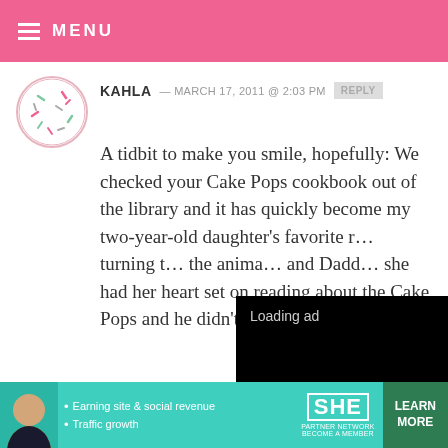MENU
KAHLA — MARCH 17, 2011 @ 2:03 PM  REPLY
A tidbit to make you smile, hopefully: We checked your Cake Pops cookbook out of the library and it has quickly become my two-year-old daughter's favorite r… turning t… the anima… and Dadd… she had her heart set on reading about the Cake Pops and he didn't know
[Figure (screenshot): Video player overlay showing 'Loading ad' with a spinner and video controls (pause, expand, mute buttons) on a black background]
[Figure (screenshot): Advertisement banner for SHE Partner Network showing a woman, bullet points 'Earning site & social revenue' and 'Traffic growth', SHE TOFU logo, and a green LEARN MORE button]